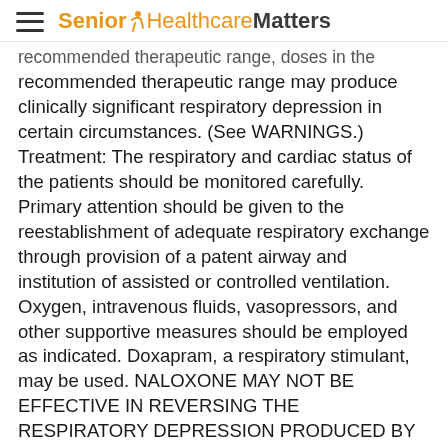Senior Healthcare Matters
recommended therapeutic range, doses in the recommended therapeutic range may produce clinically significant respiratory depression in certain circumstances. (See WARNINGS.) Treatment: The respiratory and cardiac status of the patients should be monitored carefully. Primary attention should be given to the reestablishment of adequate respiratory exchange through provision of a patent airway and institution of assisted or controlled ventilation. Oxygen, intravenous fluids, vasopressors, and other supportive measures should be employed as indicated. Doxapram, a respiratory stimulant, may be used. NALOXONE MAY NOT BE EFFECTIVE IN REVERSING THE RESPIRATORY DEPRESSION PRODUCED BY BUPRENEX (buprenorphine) . THEREFORE, AS WITH OTHER POTENT OPIOIDS, THE PRIMARY MANAGEMENT OF OVERDOSE